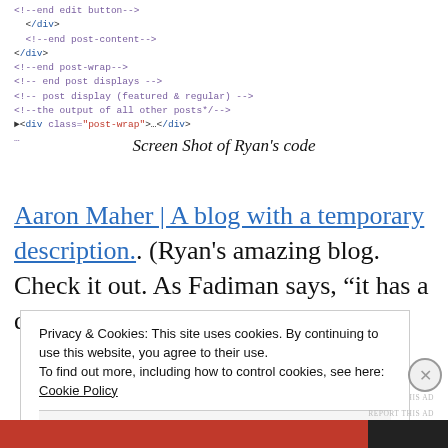[Figure (screenshot): Screenshot of HTML/XML code showing div tags and comments including end edit button, end post-content, end post-wrap, end post displays, post display featured and regular, and post-wrap class div element]
Screen Shot of Ryan's code
Aaron Maher | A blog with a temporary description.. (Ryan's amazing blog. Check it out. As Fadiman says, “it has a distinct presence.”)
REPORT THIS AD
Privacy & Cookies: This site uses cookies. By continuing to use this website, you agree to their use.
To find out more, including how to control cookies, see here: Cookie Policy
Close and accept
REPORT THIS AD